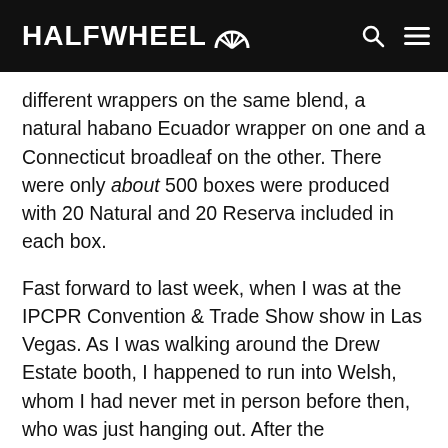HALFWHEEL
different wrappers on the same blend, a natural habano Ecuador wrapper on one and a Connecticut broadleaf on the other. There were only about 500 boxes were produced with 20 Natural and 20 Reserva included in each box.
Fast forward to last week, when I was at the IPCPR Convention & Trade Show show in Las Vegas. As I was walking around the Drew Estate booth, I happened to run into Welsh, whom I had never met in person before then, who was just hanging out. After the introductions and small talk, Welsh reached into his bag and pulled out an NHC stick that had a white secondary band on it—in Tatuaje world, that usually indicates that the cigar